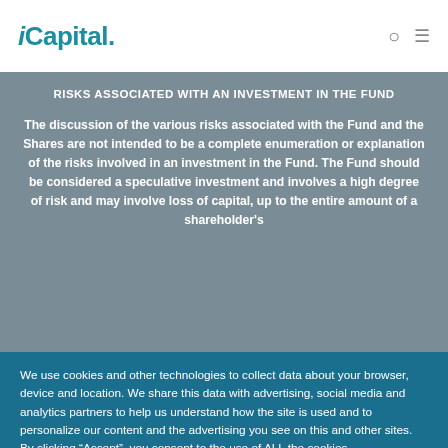iCapital.
RISKS ASSOCIATED WITH AN INVESTMENT IN THE FUND
The discussion of the various risks associated with the Fund and the Shares are not intended to be a complete enumeration or explanation of the risks involved in an investment in the Fund. The Fund should be considered a speculative investment and involves a high degree of risk and may involve loss of capital, up to the entire amount of a shareholder's
We use cookies and other technologies to collect data about your browser, device and location. We share this data with advertising, social media and analytics partners to help us understand how the site is used and to personalize our content and the advertising you see on this and other sites. By clicking “Accept”, you consent to the use of ALL the cookies.
Cookie settings   ACCEPT